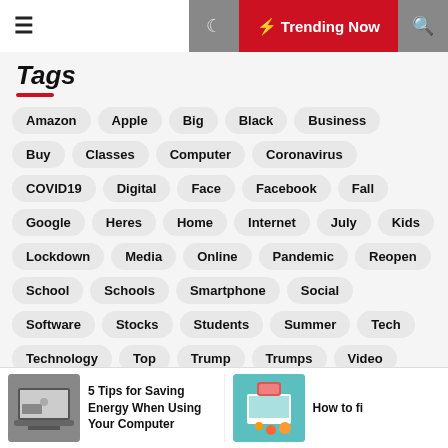Tags
Amazon
Apple
Big
Black
Business
Buy
Classes
Computer
Coronavirus
COVID19
Digital
Face
Facebook
Fall
Google
Heres
Home
Internet
July
Kids
Lockdown
Media
Online
Pandemic
Reopen
School
Schools
Smartphone
Social
Software
Stocks
Students
Summer
Tech
Technology
Top
Trump
Trumps
Video
Virtual
Virus
Watch
Ways
World
Year
5 Tips for Saving Energy When Using Your Computer
How to fi